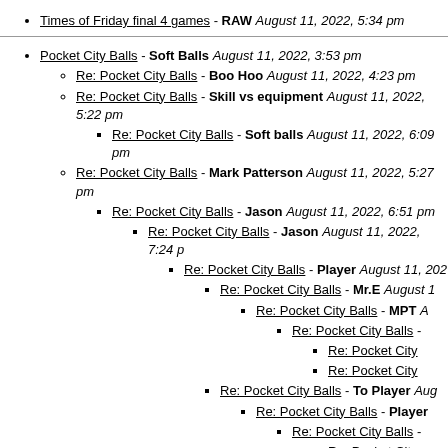Times of Friday final 4 games - RAW August 11, 2022, 5:34 pm
Pocket City Balls - Soft Balls August 11, 2022, 3:53 pm
Re: Pocket City Balls - Boo Hoo August 11, 2022, 4:23 pm
Re: Pocket City Balls - Skill vs equipment August 11, 2022, 5:22 pm
Re: Pocket City Balls - Soft balls August 11, 2022, 6:09 pm
Re: Pocket City Balls - Mark Patterson August 11, 2022, 5:27 pm
Re: Pocket City Balls - Jason August 11, 2022, 6:51 pm
Re: Pocket City Balls - Jason August 11, 2022, 7:24 pm
Re: Pocket City Balls - Player August 11, 2022
Re: Pocket City Balls - Mr.E August 11
Re: Pocket City Balls - MPT A
Re: Pocket City Balls -
Re: Pocket City
Re: Pocket City
Re: Pocket City Balls - To Player Aug
Re: Pocket City Balls - Player
Re: Pocket City Balls -
Re: Pocket City
Re: Poc
Re: Pocket City Balls - Local August
Re: Pocket City Balls - Lt Aug
Re: Pocket City Balls -
Re: Pocket City
Re: Pocket City Balls - Big Poppa17 August 12, 2022